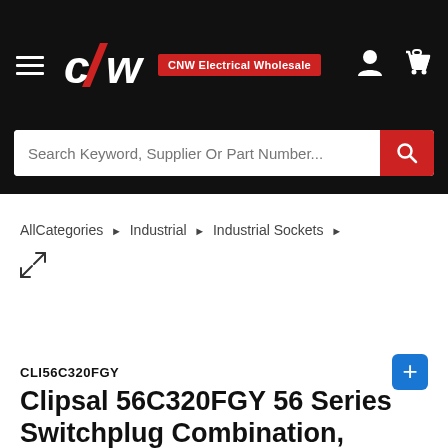[Figure (logo): CNW Electrical Wholesale logo on black header bar with hamburger menu, person icon, and cart icon]
Search Keyword, Supplier Or Part Number...
AllCategories ▸ Industrial ▸ Industrial Sockets ▸
[Figure (other): Expand/resize diagonal arrow icon]
CLI56C320FGY
Clipsal 56C320FGY 56 Series Switchplug Combination, Switched Socket Outlet, IP66,